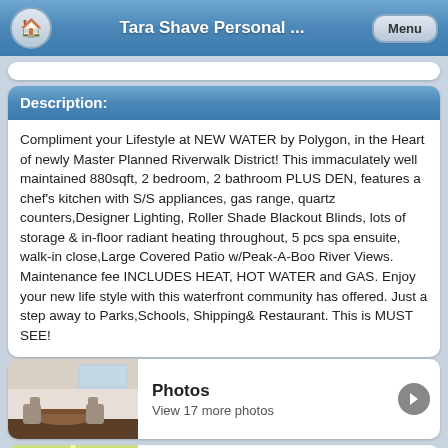Tara Shave Personal ...
Description:
Compliment your Lifestyle at NEW WATER by Polygon, in the Heart of newly Master Planned Riverwalk District! This immaculately well maintained 880sqft, 2 bedroom, 2 bathroom PLUS DEN, features a chef's kitchen with S/S appliances, gas range, quartz counters,Designer Lighting, Roller Shade Blackout Blinds, lots of storage & in-floor radiant heating throughout, 5 pcs spa ensuite, walk-in close,Large Covered Patio w/Peak-A-Boo River Views. Maintenance fee INCLUDES HEAT, HOT WATER and GAS. Enjoy your new life style with this waterfront community has offered. Just a step away to Parks,Schools, Shipping& Restaurant. This is MUST SEE!
[Figure (photo): Interior photo of a dining room area]
Photos
View 17 more photos
[Figure (map): Map thumbnail showing location]
View on Map